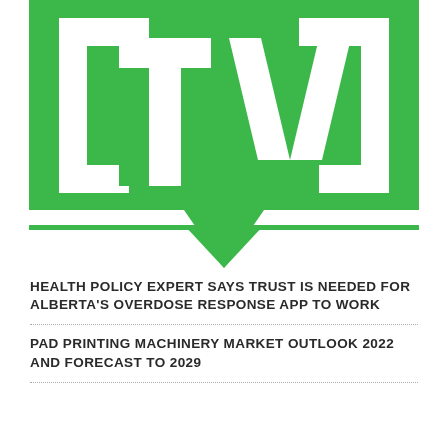[Figure (logo): Green and white 'tv' logo with bracket and speech bubble design]
HEALTH POLICY EXPERT SAYS TRUST IS NEEDED FOR ALBERTA'S OVERDOSE RESPONSE APP TO WORK
PAD PRINTING MACHINERY MARKET OUTLOOK 2022 AND FORECAST TO 2029